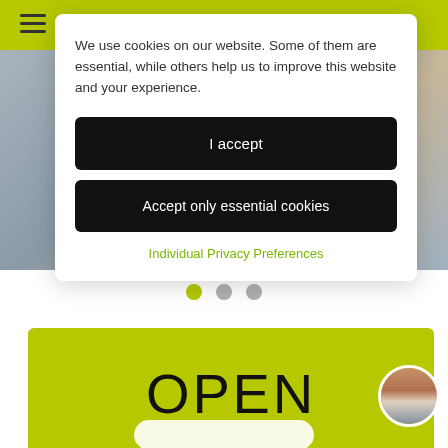We use cookies on our website. Some of them are essential, while others help us to improve this website and your experience.
I accept
Accept only essential cookies
Individual Privacy Preferences
[Figure (other): Carousel dot indicators: one green active dot and two grey inactive dots]
OPEN
[Figure (photo): Small circular avatar photo of a woman in bottom right corner]